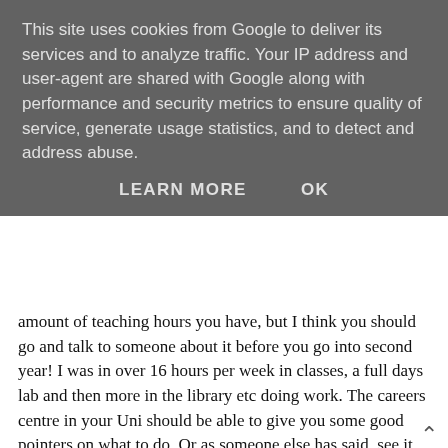This site uses cookies from Google to deliver its services and to analyze traffic. Your IP address and user-agent are shared with Google along with performance and security metrics to ensure quality of service, generate usage statistics, and to detect and address abuse.
LEARN MORE   OK
amount of teaching hours you have, but I think you should go and talk to someone about it before you go into second year! I was in over 16 hours per week in classes, a full days lab and then more in the library etc doing work. The careers centre in your Uni should be able to give you some good pointers on what to do. Or as someone else has said, see it as a plus and when you're not working part-time, try and get an internship somewhere or even voluntary in a fashion related company! :)
Hope it all works out for you! :) x
12 March 2013 at 15:37
Unknown said...
I'm in my third year now and I have to say that I completely agree with what your saying. Since I